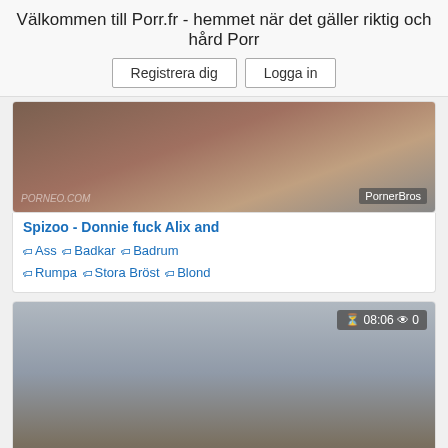Välkommen till Porr.fr - hemmet när det gäller riktig och hård Porr
Registrera dig | Logga in
[Figure (photo): Partial video thumbnail with PornerBros watermark]
Spizoo - Donnie fuck Alix and
Ass  Badkar  Badrum  Rumpa  Stora Bröst  Blond
[Figure (photo): Video thumbnail showing man sitting on toilet, PornerBros watermark, badge: 08:06 eyes 0]
Kinky Amateur Hayden Stroking In
Amatör  Anal  Ass  Badkar  Badrum  Cum
[Figure (photo): Partial video thumbnail at bottom, badge: 10:06 eyes 0]